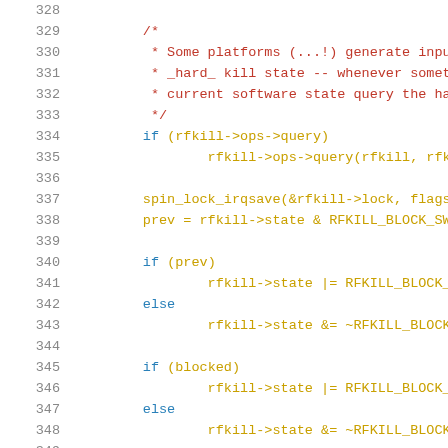Source code listing, lines 328-349, showing C kernel code for rfkill state management with comments and conditional logic.